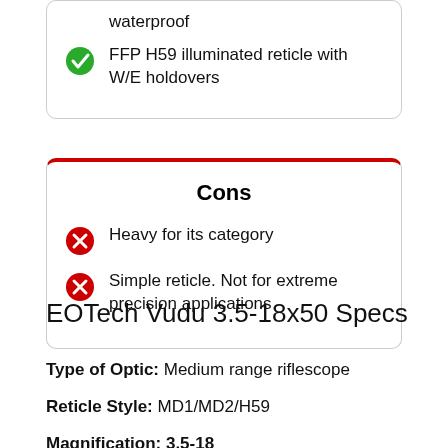waterproof
FFP H59 illuminated reticle with W/E holdovers
Cons
Heavy for its category
Simple reticle. Not for extreme precision applications
EOTech Vudu 3.5-18x50 Specs
Type of Optic: Medium range riflescope
Reticle Style: MD1/MD2/H59
Magnification: 3.5-18